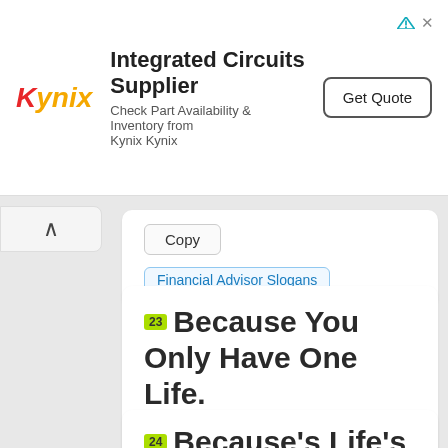[Figure (other): Kynix advertisement banner: Integrated Circuits Supplier. Check Part Availability & Inventory from Kynix Kynix. Get Quote button.]
Copy
Financial Advisor Slogans
23 Because You Only Have One Life.
Copy
Financial Advisor Slogans
24 Because's Life's...